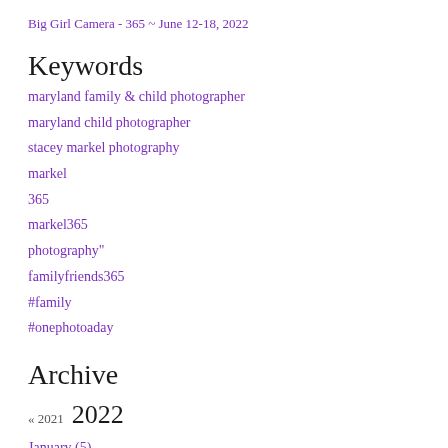Big Girl Camera - 365 ~ June 12-18, 2022
Keywords
maryland family & child photographer
maryland child photographer
stacey markel photography
markel
365
markel365
photography"
familyfriends365
#family
#onephotoaday
Archive
« 2021 2022
January (5)
February (4)
March (4)